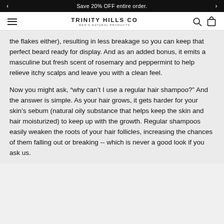Save 20% OFF entire order.
TRINITY HILLS CO MEN'S NATURAL PRODUCTS
the flakes either), resulting in less breakage so you can keep that perfect beard ready for display. And as an added bonus, it emits a masculine but fresh scent of rosemary and peppermint to help relieve itchy scalps and leave you with a clean feel.
Now you might ask, “why can’t I use a regular hair shampoo?” And the answer is simple. As your hair grows, it gets harder for your skin’s sebum (natural oily substance that helps keep the skin and hair moisturized) to keep up with the growth. Regular shampoos easily weaken the roots of your hair follicles, increasing the chances of them falling out or breaking -- which is never a good look if you ask us.